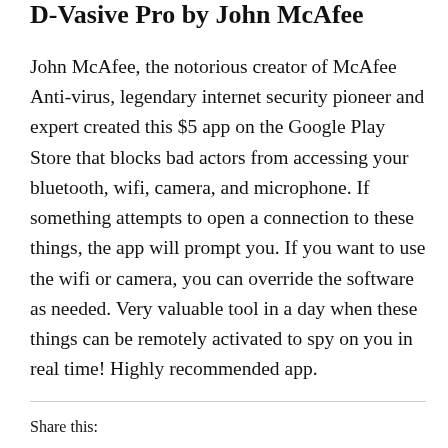D-Vasive Pro by John McAfee
John McAfee, the notorious creator of McAfee Anti-virus, legendary internet security pioneer and expert created this $5 app on the Google Play Store that blocks bad actors from accessing your bluetooth, wifi, camera, and microphone. If something attempts to open a connection to these things, the app will prompt you. If you want to use the wifi or camera, you can override the software as needed. Very valuable tool in a day when these things can be remotely activated to spy on you in real time! Highly recommended app.
Share this: